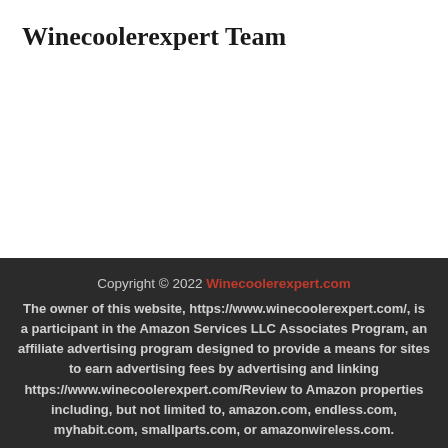Winecoolerexpert Team
Copyright © 2022 Winecoolerexpert.com
The owner of this website, https://www.winecoolerexpert.com/, is a participant in the Amazon Services LLC Associates Program, an affiliate advertising program designed to provide a means for sites to earn advertising fees by advertising and linking https://www.winecoolerexpert.com/Review to Amazon properties including, but not limited to, amazon.com, endless.com, myhabit.com, smallparts.com, or amazonwireless.com.